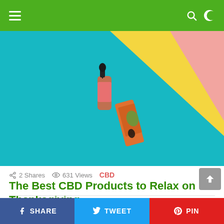Navigation bar with hamburger menu, search icon, and dark mode toggle
[Figure (photo): CBD oil dropper bottle and colorful product box on a colorful geometric background with teal, yellow, and pink sections]
2 Shares  631 Views  CBD
The Best CBD Products to Relax on Thanksgiving
2 years ago
SHARE  TWEET  PIN